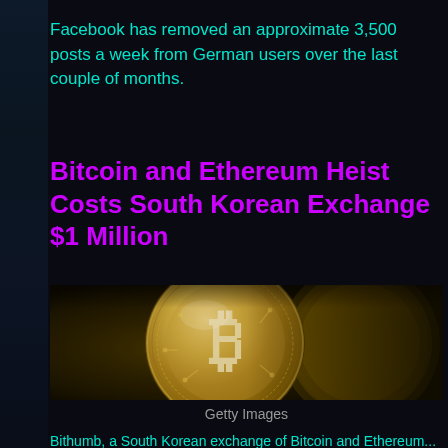Facebook has removed an approximate 3,500 posts a week from German users over the last couple of months.
Bitcoin and Ethereum Heist Costs South Korean Exchange $1 Million
[Figure (photo): Close-up photograph of gold Bitcoin coins with circuit board engravings, dark background]
Getty Images
Bithumb, a South Korean exchange of Bitcoin and Ethereum...